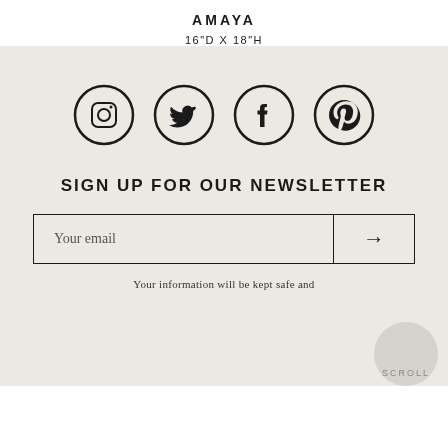AMAYA
16"D X 18"H
[Figure (illustration): Four social media icons in circles: Instagram, Twitter, Facebook, Pinterest]
SIGN UP FOR OUR NEWSLETTER
Your email [input field with arrow button]
Your information will be kept safe and
SCROLL